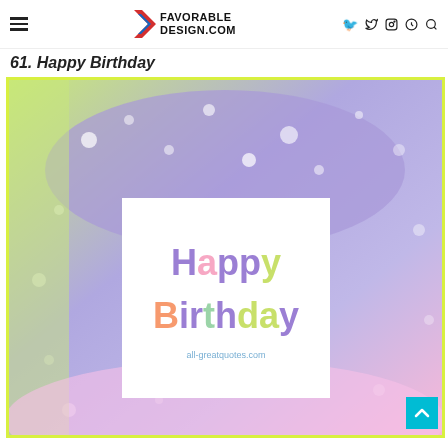FAVORABLE DESIGN.COM — navigation icons
61. Happy Birthday
[Figure (illustration): A birthday card graphic with a colorful pastel rainbow gradient background (yellow-green on left, purple/blue at top, pink/lavender at bottom right) with white sparkle bokeh effects. In the center is a white rectangle card with multicolor 'Happy Birthday' text in large bold letters — 'Happy' in mixed purple/pink/yellow letters and 'Birthday' in mixed orange/purple/green/yellow letters. Below the text is the watermark 'all-greatquotes.com' in light blue.]